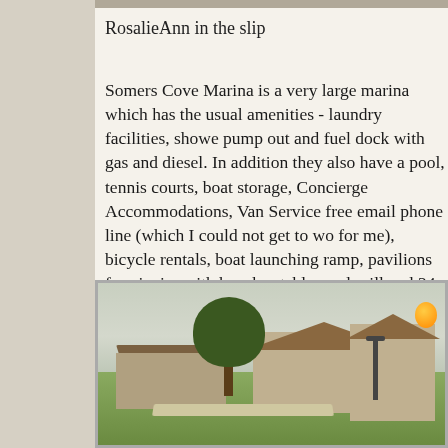RosalieAnn in the slip
Somers Cove Marina is a very large marina which has the usual amenities - laundry facilities, showers, pump out and fuel dock with gas and diesel. In addition they also have a pool, tennis courts, boat storage, Concierge Accommodations, Van Service, free email phone line (which I could not get to work for me), bicycle rentals, boat launching ramp, pavilions for picnics with benches tables and grills and 24 hour surveillance. $1/ft and $3 for 30 amp
[Figure (photo): Outdoor photo of Somers Cove Marina showing pavilions, a building, a tower, trees, lamp posts and green lawn.]